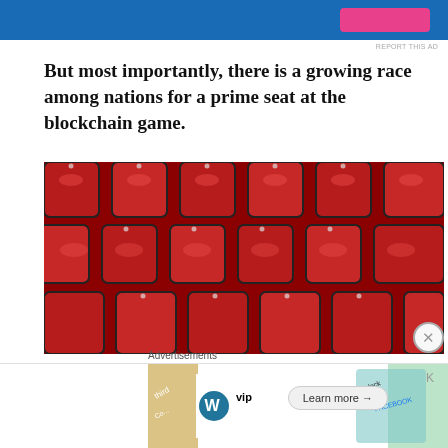[Figure (other): Advertisement banner at top, blue background with pink/red button element visible on right side]
REPORT THIS AD
But most importantly, there is a growing race among nations for a prime seat at the blockchain game.
[Figure (photo): Rows of red stadium seats photographed from above at an angle, showing multiple rows of empty red plastic folding chairs with metal frames]
Several small countries are trying to position themselves ahead of the race, by embracing the blockchain technology and providing regulation in
Advertisements
[Figure (other): Advertisement banner showing WordPress VIP logo, colorful cards with social media logos (Slack, Facebook), and a Learn more button]